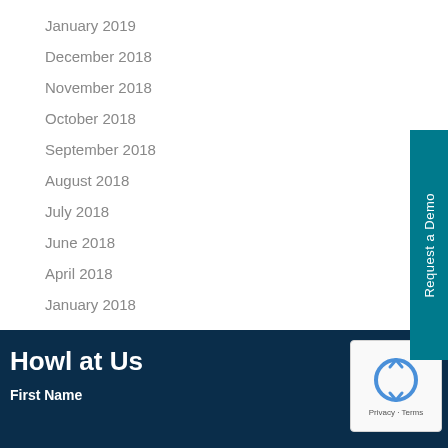January 2019
December 2018
November 2018
October 2018
September 2018
August 2018
July 2018
June 2018
April 2018
January 2018
November 2017
[Figure (other): Teal 'Request a Demo' vertical sidebar button on the right side]
Howl at Us
First Name
[Figure (other): reCAPTCHA widget with Privacy and Terms text]